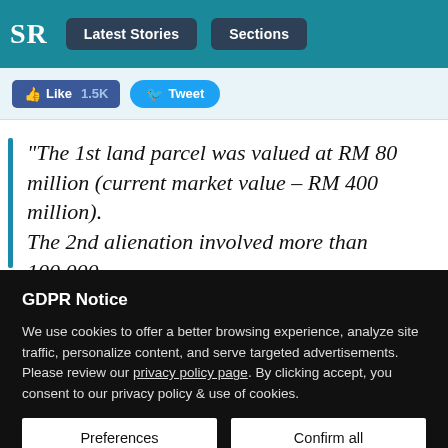SR | Latest Stories | Sections
[Figure (screenshot): Social share buttons: Like 1.5K (Facebook) and Tweet (Twitter)]
“The 1st land parcel was valued at RM 80 million (current market value – RM 400 million). The 2nd alienation involved more than 100,000
GDPR Notice
We use cookies to offer a better browsing experience, analyze site traffic, personalize content, and serve targeted advertisements. Please review our privacy policy page. By clicking accept, you consent to our privacy policy & use of cookies.